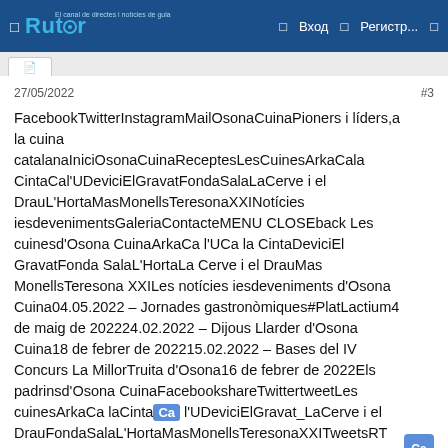☐ Rutor  ☐ Вход  ☐ Регистр...  ☐
27/05/2022   #3
FacebookTwitterInstagramMailOsonaCuinaPioners i líders,a la cuina catalanaIniciOsonaCuinaReceptesLesCuinesArkaCala CintaCal'UDeviciElGravatFondaSalaLaCerve i el DrauL'HortaMasMonellsTeresonaXXINotícies iesdevenimentsGaleriaContacteMENU CLOSEback Les cuinesd'Osona CuinaArkaCa l'UCa la CintaDeviciEl GravatFonda SalaL'HortaLa Cerve i el DrauMas MonellsTeresona XXILes notícies iesdeveniments d'Osona Cuina04.05.2022 – Jornades gastronòmiques#PlatLactium4 de maig de 202224.02.2022 – Dijous Llarder d'Osona Cuina18 de febrer de 202215.02.2022 – Bases del IV Concurs La MillorTruita d'Osona16 de febrer de 2022Els padrinsd'Osona CuinaFacebookshareTwittertweetLes cuinesArkaCa laCintaCa l'UDeviciElGravat_LaCerve i el DrauFondaSalaL'HortaMasMonellsTeresonaXXITweetsRT @devicibardevins:Jornades gastronòmiques #PlatLactium. Fins